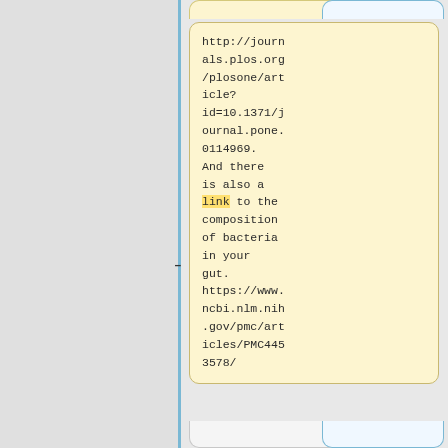http://journals.plos.org/plosone/article?id=10.1371/journal.pone.0114969. And there is also a link to the composition of bacteria in your gut. https://www.ncbi.nlm.nih.gov/pmc/articles/PMC4453578/